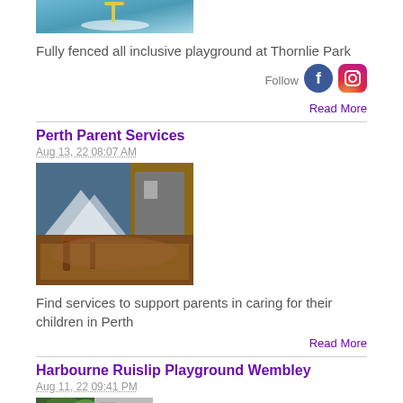[Figure (photo): Playground equipment at Thornlie Park - merry-go-round on blue surface]
Fully fenced all inclusive playground at Thornlie Park
Follow
[Figure (logo): Facebook logo icon (blue circle)]
[Figure (logo): Instagram logo icon (gradient square with rounded corners)]
Read More
Perth Parent Services
Aug 13, 22 08:07 AM
[Figure (photo): Outdoor playground area with bark mulch, rope equipment, blue shade sail, and building in background]
Find services to support parents in caring for their children in Perth
Read More
Harbourne Ruislip Playground Wembley
Aug 11, 22 09:41 PM
[Figure (photo): Playground at Harbourne Ruislip Wembley - trees and equipment visible]